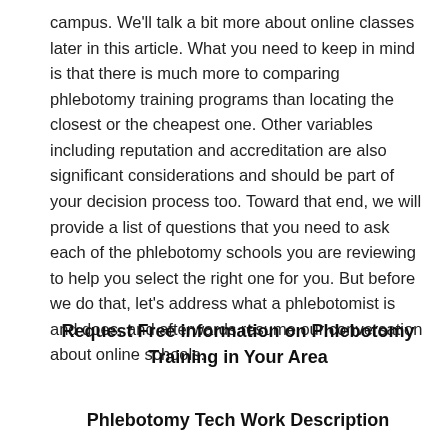campus. We'll talk a bit more about online classes later in this article. What you need to keep in mind is that there is much more to comparing phlebotomy training programs than locating the closest or the cheapest one. Other variables including reputation and accreditation are also significant considerations and should be part of your decision process too. Toward that end, we will provide a list of questions that you need to ask each of the phlebotomy schools you are reviewing to help you select the right one for you. But before we do that, let's address what a phlebotomist is and does, and afterwards resume our conversation about online schools.
Request Free information on Phlebotomy Training in Your Area
Phlebotomy Tech Work Description